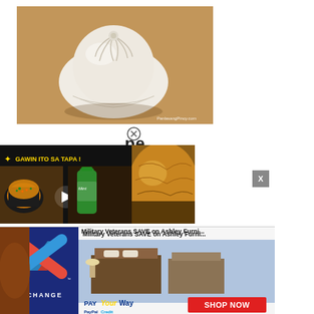[Figure (photo): A white steamed bao bun (siopao) on a wooden surface, with PanlasangPinoy.com watermark]
[Figure (screenshot): Video overlay: GAWIN ITO SA TAPA! with food image on dark background]
pe
[Figure (photo): Close up of fried/baked food item on right side]
[Figure (infographic): Close button X icon in circle]
[Figure (infographic): X close button box]
[Figure (other): Advertisement banner: Military Veterans SAVE on Ashley Furniture. Exchange logo with X mark. PAY YourWay. SHOP NOW button.]